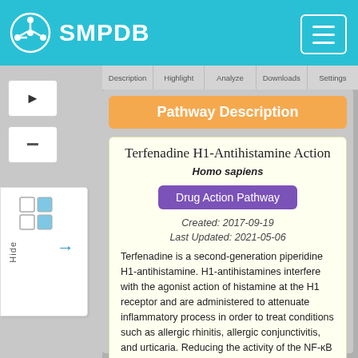SMPDB
Description | Highlight | Analyze | Downloads | Settings
Pathway Description
Terfenadine H1-Antihistamine Action
Homo sapiens
Drug Action Pathway
Created: 2017-09-19
Last Updated: 2021-05-06
Terfenadine is a second-generation piperidine H1-antihistamine. H1-antihistamines interfere with the agonist action of histamine at the H1 receptor and are administered to attenuate inflammatory process in order to treat conditions such as allergic rhinitis, allergic conjunctivitis, and urticaria. Reducing the activity of the NF-κB immune response transcription factor through the phospholipase C and the